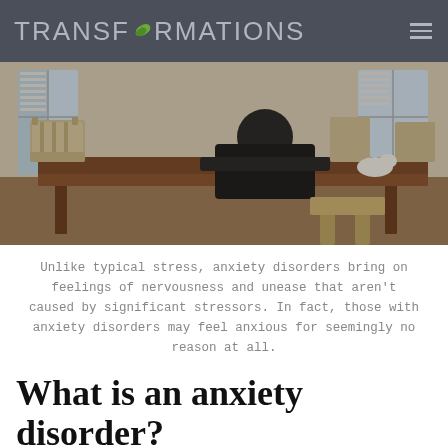TRANSFORMATIONS
[Figure (photo): Person leaning on a wooden dining table with chairs around, viewed from the side, in a dimly lit room with shuttered windows. A small white dog is visible in the background.]
Unlike typical stress, anxiety disorders bring on feelings of nervousness and unease that aren't caused by significant stressors. In fact, those with anxiety disorders may feel anxious for seemingly no reason at all.
What is an anxiety disorder?
Many of the basic symptoms of anxiety disorders are similar to those of typical stress, which is why many